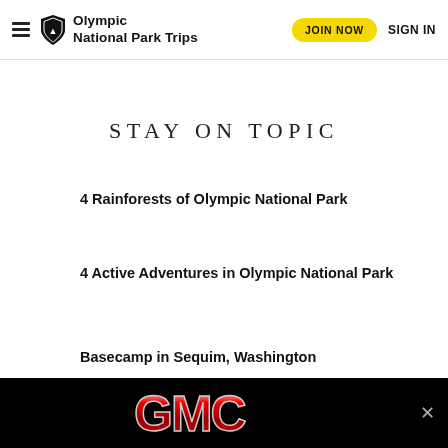Olympic National Park Trips | JOIN NOW | SIGN IN
STAY ON TOPIC
4 Rainforests of Olympic National Park
4 Active Adventures in Olympic National Park
Basecamp in Sequim, Washington
[Figure (logo): GMC advertisement banner on black background with close (x) button]